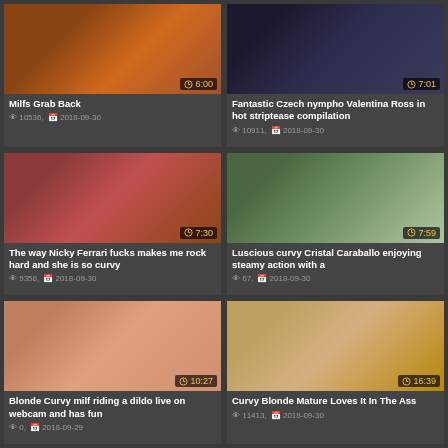[Figure (screenshot): Video thumbnail grid showing 6 adult video cards with titles, view counts, and dates]
Milfs Grab Back | 10536 views | 2018-09-30 | 6:00
Fantastic Czech nympho Valentina Ross in hot striptease compilation | 10911 views | 2018-09-30 | 7:01
The way Nicky Ferrari fucks makes me rock hard and she is so curvy | 5358 views | 2018-09-30 | 7:30
Luscious curvy Cristal Caraballo enjoying steamy action with a | 67 views | 2018-09-30 | 7:59
Blonde Curvy milf riding a dildo live on webcam and has fun | 0 views | 2018-09-29 | 10:27
Curvy Blonde Mature Loves It In The Ass | 11413 views | 2018-09-30 | 16:39